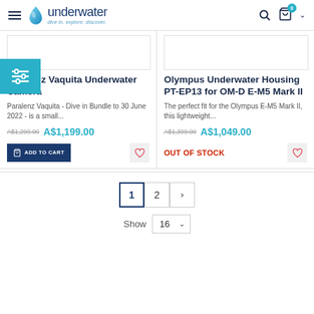[Figure (screenshot): Underwater website header with hamburger menu, logo with tagline 'dive in. explore. discover.', search icon, cart icon with badge '0', and dropdown chevron]
[Figure (other): Product image placeholder boxes for two products]
Paralenz Vaquita Underwater Camera
Paralenz Vaquita - Dive in Bundle to 30 June 2022 - is a small...
A$1,299.00  A$1,199.00
Olympus Underwater Housing PT-EP13 for OM-D E-M5 Mark II
The perfect fit for the Olympus E-M5 Mark II, this lightweight...
A$1,399.00  A$1,049.00
ADD TO CART
OUT OF STOCK
1  2  >
Show  16